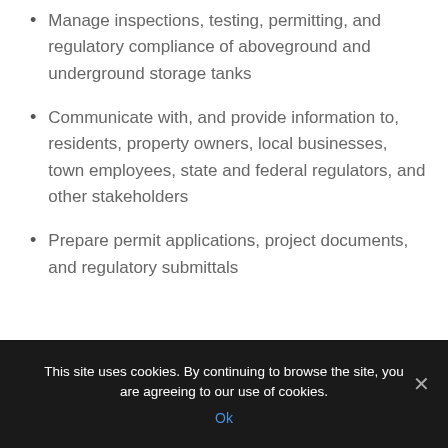Manage inspections, testing, permitting, and regulatory compliance of aboveground and underground storage tanks
Communicate with, and provide information to, residents, property owners, local businesses, town employees, state and federal regulators, and other stakeholders
Prepare permit applications, project documents, and regulatory submittals
This site uses cookies. By continuing to browse the site, you are agreeing to our use of cookies. Ok